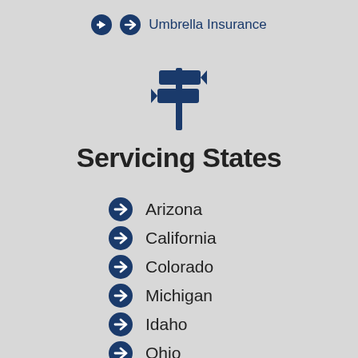Umbrella Insurance
[Figure (illustration): Dark blue directional signpost icon with two signs pointing left and right, on a pole]
Servicing States
Arizona
California
Colorado
Michigan
Idaho
Ohio
Oregon